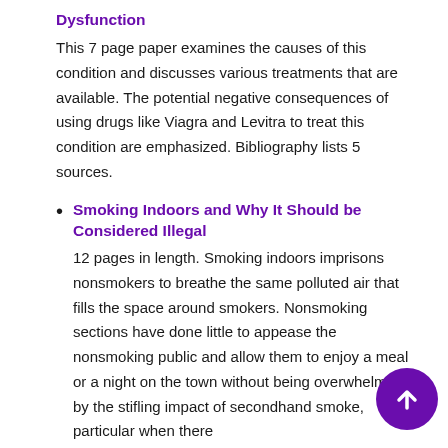Dysfunction
This 7 page paper examines the causes of this condition and discusses various treatments that are available. The potential negative consequences of using drugs like Viagra and Levitra to treat this condition are emphasized. Bibliography lists 5 sources.
Smoking Indoors and Why It Should be Considered Illegal
12 pages in length. Smoking indoors imprisons nonsmokers to breathe the same polluted air that fills the space around smokers. Nonsmoking sections have done little to appease the nonsmoking public and allow them to enjoy a meal or a night on the town without being overwhelmed by the stifling impact of secondhand smoke, particular when there